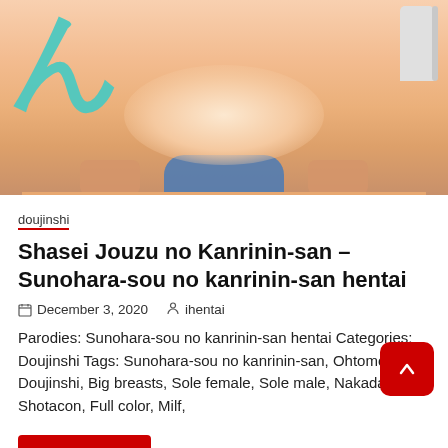[Figure (illustration): Anime/manga style illustration showing a character from behind, kneeling, with Japanese text ん visible on the left side in teal color and a white object in the upper right corner.]
doujinshi
Shasei Jouzu no Kanrinin-san – Sunohara-sou no kanrinin-san hentai
December 3, 2020  ihentai
Parodies: Sunohara-sou no kanrinin-san hentai Categories: Doujinshi Tags: Sunohara-sou no kanrinin-san, Ohtomo takuji, Doujinshi, Big breasts, Sole female, Sole male, Nakadashi, Shotacon, Full color, Milf,
Read More